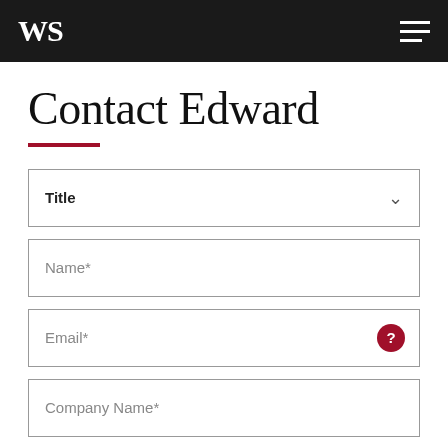WS
Contact Edward
Title (dropdown)
Name*
Email*
Company Name*